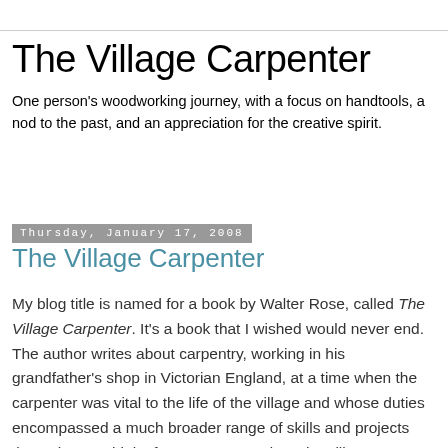The Village Carpenter
One person's woodworking journey, with a focus on handtools, a nod to the past, and an appreciation for the creative spirit.
Thursday, January 17, 2008
The Village Carpenter
My blog title is named for a book by Walter Rose, called The Village Carpenter. It's a book that I wished would never end. The author writes about carpentry, working in his grandfather's shop in Victorian England, at a time when the carpenter was vital to the life of the village and whose duties encompassed a much broader range of skills and projects than what we think of as carpentry today. The village carpenter in the late 19th c. was responsible for building everything from windows & doors to coffins to fences & gates to furniture to buckets & washboards and more. He was a